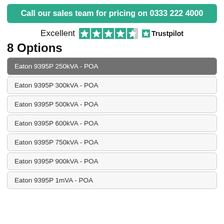Call our sales team for pricing on 0333 222 4000
[Figure (other): Trustpilot rating showing Excellent with 4.5 stars]
8 Options
Eaton 9395P 250kVA - POA
Eaton 9395P 300kVA - POA
Eaton 9395P 500kVA - POA
Eaton 9395P 600kVA - POA
Eaton 9395P 750kVA - POA
Eaton 9395P 900kVA - POA
Eaton 9395P 1mVA - POA